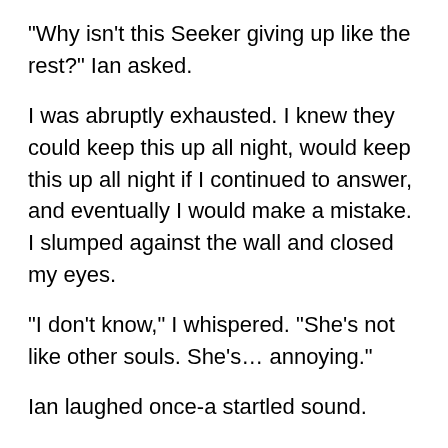"Why isn't this Seeker giving up like the rest?" Ian asked.
I was abruptly exhausted. I knew they could keep this up all night, would keep this up all night if I continued to answer, and eventually I would make a mistake. I slumped against the wall and closed my eyes.
"I don't know," I whispered. "She's not like other souls. She's… annoying."
Ian laughed once-a startled sound.
"And you-are you like other… souls?" Jared asked.